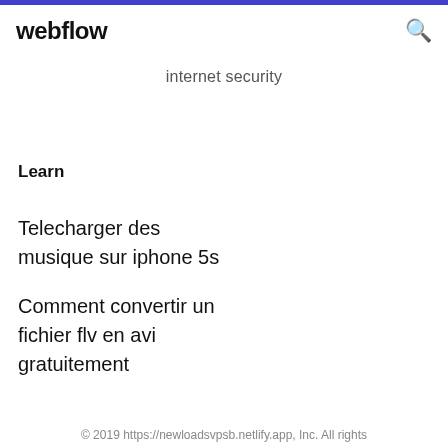webflow
internet security
Learn
Telecharger des musique sur iphone 5s
Comment convertir un fichier flv en avi gratuitement
© 2019 https://newloadsvpsb.netlify.app, Inc. All rights